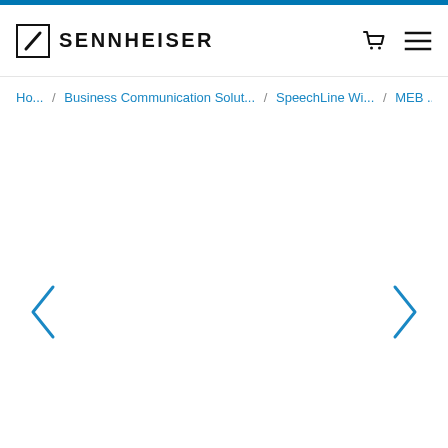SENNHEISER
Ho... / Business Communication Solut... / SpeechLine Wi... / MEB ...
[Figure (other): Left navigation arrow (chevron left) in blue]
[Figure (other): Right navigation arrow (chevron right) in blue]